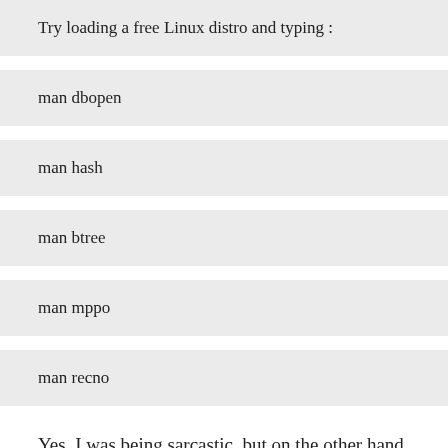Try loading a free Linux distro and typing :
man dbopen
man hash
man btree
man mppo
man recno
Yes, I was being sarcastic, but on the other hand I have